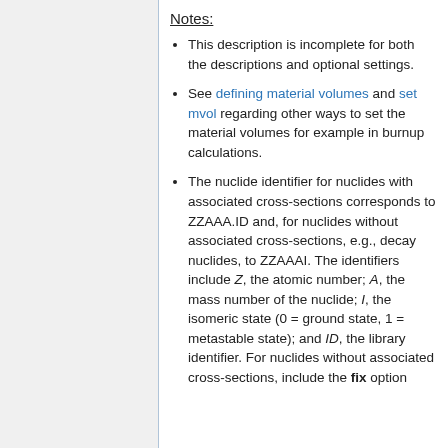Notes:
This description is incomplete for both the descriptions and optional settings.
See defining material volumes and set mvol regarding other ways to set the material volumes for example in burnup calculations.
The nuclide identifier for nuclides with associated cross-sections corresponds to ZZAAA.ID and, for nuclides without associated cross-sections, e.g., decay nuclides, to ZZAAAI. The identifiers include Z, the atomic number; A, the mass number of the nuclide; I, the isomeric state (0 = ground state, 1 = metastable state); and ID, the library identifier. For nuclides without associated cross-sections, include the fix option